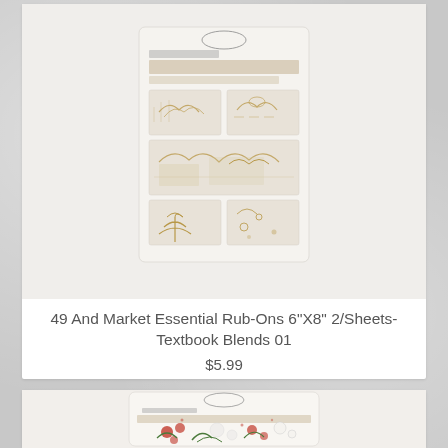[Figure (photo): Product photo of 49 And Market Essential Rub-Ons 6x8 inch 2/Sheets Textbook Blends 01, showing a white packaging card with botanical/vintage sketch rub-on transfers in muted gold/tan tones]
49 And Market Essential Rub-Ons 6"X8" 2/Sheets-Textbook Blends 01
$5.99
[Figure (photo): Product photo of 49 And Market Essential Rub-Ons showing a white packaging card with red and white floral/botanical rub-on transfers]